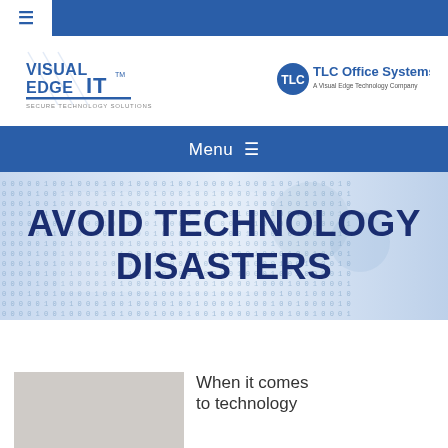≡
[Figure (logo): Visual Edge IT logo - blue text with 'VISUAL EDGE IT' and tagline 'SECURE TECHNOLOGY SOLUTIONS']
[Figure (logo): TLC Office Systems logo - circular blue icon with 'TLC Office Systems' and tagline 'A Visual Edge Technology Company']
Menu ≡
[Figure (photo): Blue-tinted background image with binary code (0s and 1s) and technology/circuit board imagery]
AVOID TECHNOLOGY DISASTERS
[Figure (photo): Partial photo at bottom left, light gray/beige tones]
When it comes to technology